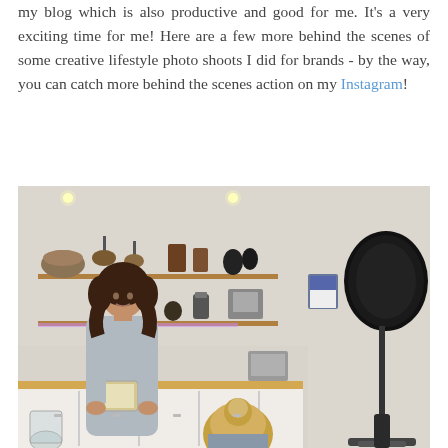my blog which is also productive and good for me. It's a very exciting time for me! Here are a few more behind the scenes of some creative lifestyle photo shoots I did for brands - by the way, you can catch more behind the scenes action on my Instagram!
[Figure (photo): Behind the scenes photo of a lifestyle brand photo shoot in a kitchen. A woman with dark hair wearing a light blue top is looking at a tablet/book while standing at the kitchen counter. The kitchen has wooden shelves with various pots, pans, and kitchen items. A large black reflector/photography light is visible on the right side. Another person with blonde hair is seated at a wooden table in the foreground.]